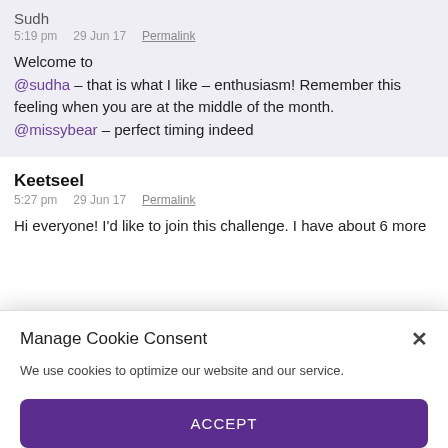Sudh (partial username)
5:19 pm   29 Jun 17   Permalink
Welcome to @sudha – that is what I like – enthusiasm! Remember this feeling when you are at the middle of the month. @missybear – perfect timing indeed
Keetseel
5:27 pm   29 Jun 17   Permalink
Hi everyone! I'd like to join this challenge. I have about 6 more
Manage Cookie Consent
We use cookies to optimize our website and our service.
ACCEPT
Cookie Policy   Privacy statement